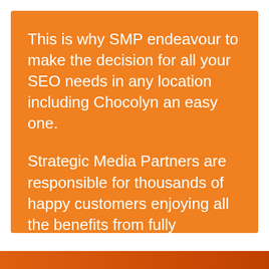This is why SMP endeavour to make the decision for all your SEO needs in any location including Chocolyn an easy one.
Strategic Media Partners are responsible for thousands of happy customers enjoying all the benefits from fully managed SEO services.